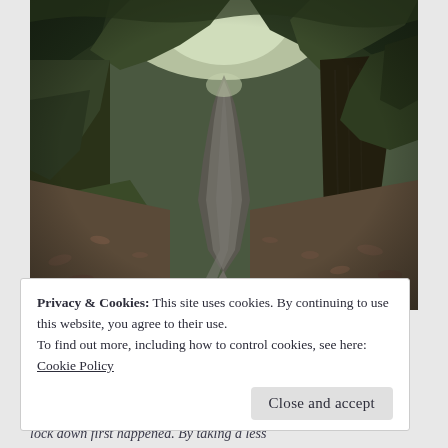[Figure (photo): A winding forest path or trail with dark grey asphalt, flanked by tall trees with lush green canopy. Light filters through from the top. A large tree trunk is visible on the right side. Fallen leaves are scattered on the ground on both sides of the path.]
Privacy & Cookies: This site uses cookies. By continuing to use this website, you agree to their use.
To find out more, including how to control cookies, see here:
Cookie Policy
Close and accept
lock down first happened. By taking a less